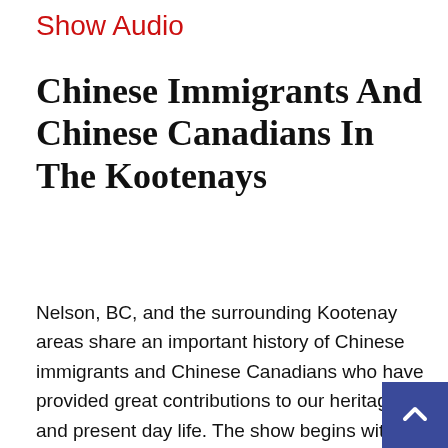Show Audio
Chinese Immigrants And Chinese Canadians In The Kootenays
Nelson, BC, and the surrounding Kootenay areas share an important history of Chinese immigrants and Chinese Canadians who have provided great contributions to our heritage and present day life. The show begins with an excerpt from the Fred Wah radio drama "A Door to Be Kicked." Check out